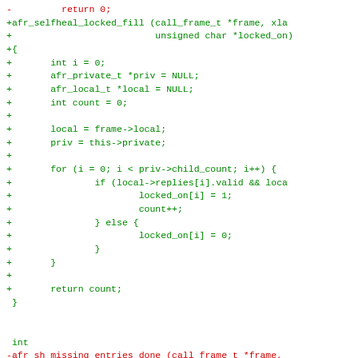[Figure (other): Source code diff showing removal of 'return 0;' and addition of afr_selfheal_locked_fill function with implementation, followed by afr_sh_missing_entries_done renamed to afr_selfheal_tryinodelk]